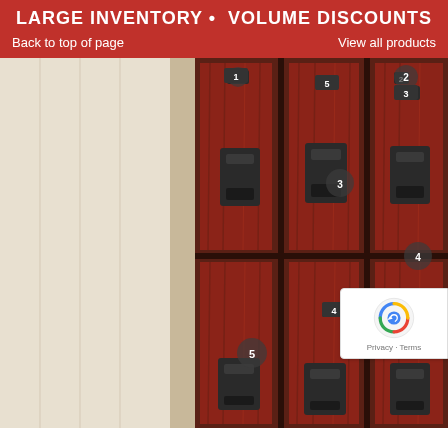LARGE INVENTORY • VOLUME DISCOUNTS
Back to top of page
View all products
[Figure (photo): Photo of a set of wood-grain finish lockers (3 columns, 2 rows) with numbered callout circles (1–6) indicating parts. Lockers have dark handles and number plates. A beige/tan panel is visible on the left side.]